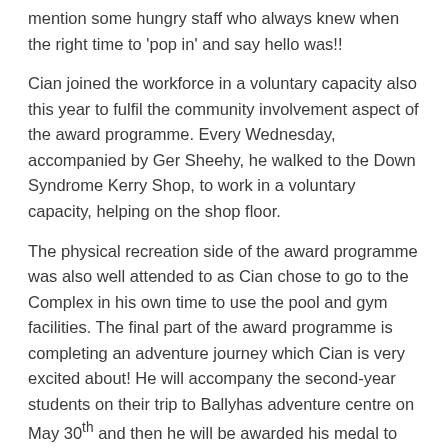mention some hungry staff who always knew when the right time to 'pop in' and say hello was!!
Cian joined the workforce in a voluntary capacity also this year to fulfil the community involvement aspect of the award programme. Every Wednesday, accompanied by Ger Sheehy, he walked to the Down Syndrome Kerry Shop, to work in a voluntary capacity, helping on the shop floor.
The physical recreation side of the award programme was also well attended to as Cian chose to go to the Complex in his own time to use the pool and gym facilities. The final part of the award programme is completing an adventure journey which Cian is very excited about! He will accompany the second-year students on their trip to Ballyhas adventure centre on May 30th and then he will be awarded his medal to celebrate the fact that he has dreamt big and realised his potential.
So, what next………………?
Cian will sign up for the silver Gaisce award programme